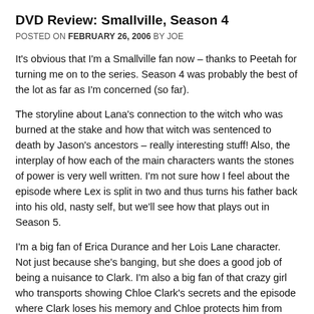DVD Review: Smallville, Season 4
POSTED ON FEBRUARY 26, 2006 BY JOE
It's obvious that I'm a Smallville fan now – thanks to Peetah for turning me on to the series. Season 4 was probably the best of the lot as far as I'm concerned (so far).
The storyline about Lana's connection to the witch who was burned at the stake and how that witch was sentenced to death by Jason's ancestors – really interesting stuff! Also, the interplay of how each of the main characters wants the stones of power is very well written. I'm not sure how I feel about the episode where Lex is split in two and thus turns his father back into his old, nasty self, but we'll see how that plays out in Season 5.
I'm a big fan of Erica Durance and her Lois Lane character. Not just because she's banging, but she does a good job of being a nuisance to Clark. I'm also a big fan of that crazy girl who transports showing Chloe Clark's secrets and the episode where Clark loses his memory and Chloe protects him from the outside world. Is it just me or is Chloe getting progressively better as the seasons go on? Good for her!